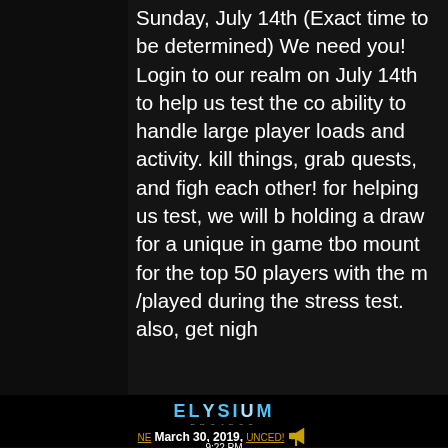Sunday, July 14th (Exact time to be determined) We need you! Login to our realm on July 14th to help us test the co ability to handle large player loads and activity. kill things, grab quests, and figh each other! for helping us test, we will b holding a draw for a unique in game tbo mount for the top 50 players with the m /played during the stress test. also, get nigh
[Figure (other): Gold 'READ MORE' button with gradient yellow/gold background and white bold text]
[Figure (logo): Elysium Project logo in blue gradient text with 'PROJECT' subtitle in gray]
March 30, 2019,
9:22 PM